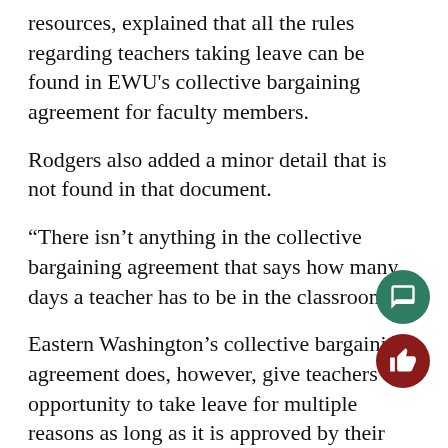resources, explained that all the rules regarding teachers taking leave can be found in EWU's collective bargaining agreement for faculty members.
Rodgers also added a minor detail that is not found in that document.
“There isn’t anything in the collective bargaining agreement that says how many days a teacher has to be in the classroom.”
Eastern Washington’s collective bargaining agreement does, however, give teachers the opportunity to take leave for multiple reasons as long as it is approved by their department.
The collective bargaining agreement recognizes a leave of absence for medical, professional, and personal reasons or a grievance procedure.